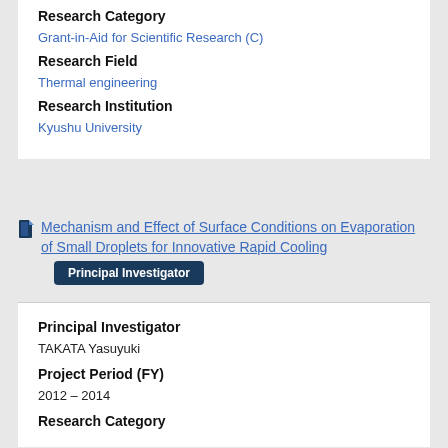Research Category
Grant-in-Aid for Scientific Research (C)
Research Field
Thermal engineering
Research Institution
Kyushu University
Mechanism and Effect of Surface Conditions on Evaporation of Small Droplets for Innovative Rapid Cooling
Principal Investigator
Principal Investigator
TAKATA Yasuyuki
Project Period (FY)
2012 – 2014
Research Category